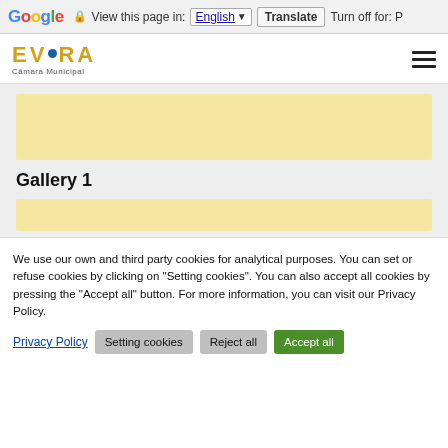Google Translate bar — View this page in: English | Translate | Turn off for: P
[Figure (logo): Évora Câmara Municipal logo — stylized EVORA text in gold with blue circular dot, and hamburger menu icon]
[Figure (other): Advertisement placeholder block (light yellow/tan background)]
Gallery 1
[Figure (other): Advertisement placeholder block (light yellow/tan background)]
We use our own and third party cookies for analytical purposes. You can set or refuse cookies by clicking on "Setting cookies". You can also accept all cookies by pressing the "Accept all" button. For more information, you can visit our Privacy Policy.
Privacy Policy | Setting cookies | Reject all | Accept all